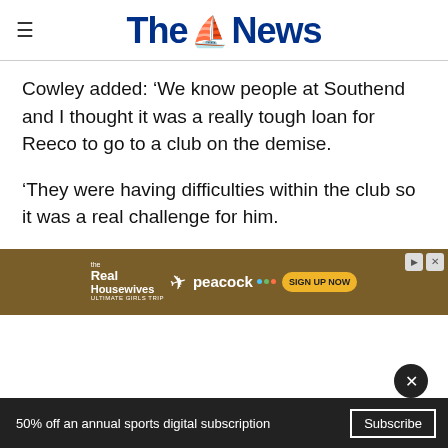The News
Cowley added: ‘We know people at Southend and I thought it was a really tough loan for Reeco to go to a club on the demise.
‘They were having difficulties within the club so it was a real challenge for him.
‘I thought... extent if I am... e an
[Figure (screenshot): Advertisement banner for The Real Housewives Ultimate Girls Trip on Peacock with Sign Up Now button]
50% off an annual sports digital subscription
Subscribe